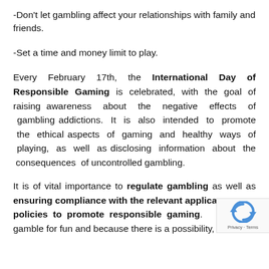-Don't let gambling affect your relationships with family and friends.
-Set a time and money limit to play.
Every February 17th, the International Day of Responsible Gaming is celebrated, with the goal of raising awareness about the negative effects of gambling addictions. It is also intended to promote the ethical aspects of gaming and healthy ways of playing, as well as disclosing information about the consequences of uncontrolled gambling.
It is of vital importance to regulate gambling as well as ensuring compliance with the relevant applicable policies to promote responsible gaming. gamble for fun and because there is a possibility, however